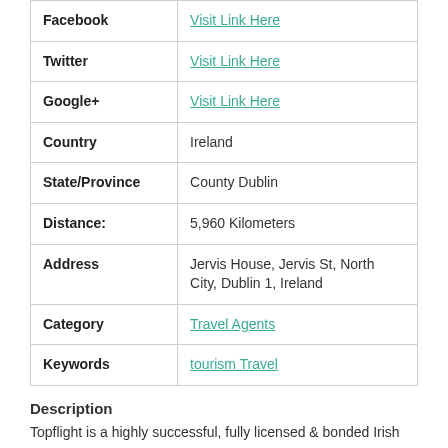| Field | Value |
| --- | --- |
| Facebook | Visit Link Here |
| Twitter | Visit Link Here |
| Google+ | Visit Link Here |
| Country | Ireland |
| State/Province | County Dublin |
| Distance: | 5,960 Kilometers |
| Address | Jervis House, Jervis St, North City, Dublin 1, Ireland |
| Category | Travel Agents |
| Keywords | tourism Travel |
Description
Topflight is a highly successful, fully licensed & bonded Irish owned company and market leader in quality holidays both to summer destinations, as well as an award-winning ski programme.
Tony Collins, Topflight's Chairman, originally established Tony Collins Travel